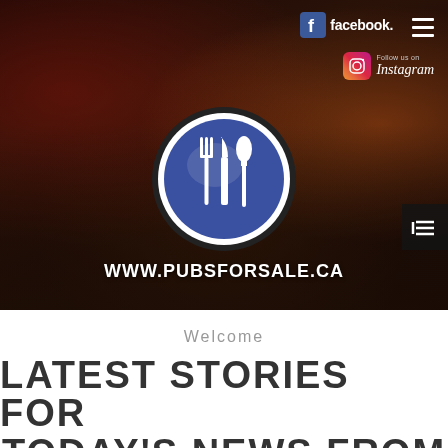[Figure (screenshot): Dark restaurant background hero image with Facebook and Instagram social media buttons, hamburger menu, circular logo with fork, knife, and spoon on blue background, and website URL www.pubsforsale.ca]
Welcome
LATEST STORIES FOR TODAY'S NEWS FROM